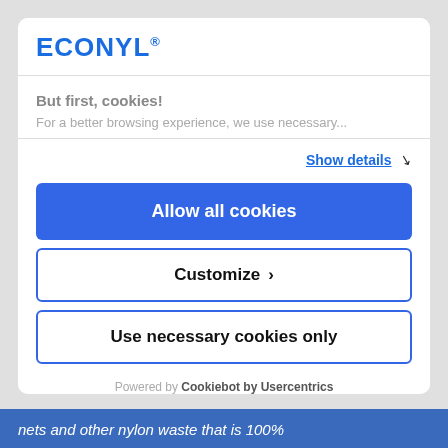[Figure (logo): ECONYL logo in blue bold text with registered trademark symbol]
But first, cookies!
For a better browsing experience, we use necessary...
Show details ›
Allow all cookies
Customize ›
Use necessary cookies only
Powered by Cookiebot by Usercentrics
nets and other nylon waste that is 100%